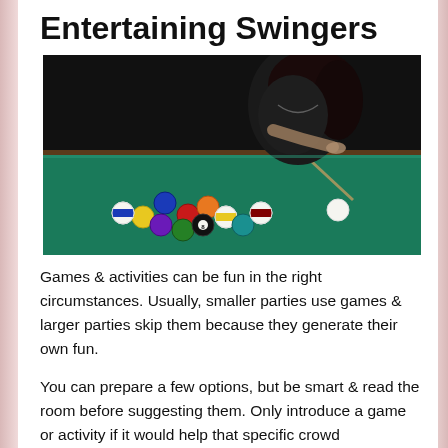Entertaining Swingers
[Figure (photo): A woman in dark clothing leaning over a green billiard/pool table with billiard balls scattered on the table surface, against a dark background.]
Games & activities can be fun in the right circumstances. Usually, smaller parties use games & larger parties skip them because they generate their own fun.
You can prepare a few options, but be smart & read the room before suggesting them. Only introduce a game or activity if it would help that specific crowd.